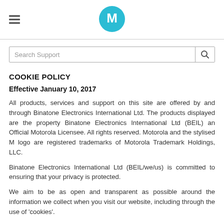Motorola logo and hamburger menu
[Figure (logo): Motorola M logo in teal circle]
Search Support
COOKIE POLICY
Effective January 10, 2017
All products, services and support on this site are offered by and through Binatone Electronics International Ltd. The products displayed are the property Binatone Electronics International Ltd (BEIL) an Official Motorola Licensee. All rights reserved. Motorola and the stylised M logo are registered trademarks of Motorola Trademark Holdings, LLC.
Binatone Electronics International Ltd (BEIL/we/us) is committed to ensuring that your privacy is protected.
We aim to be as open and transparent as possible around the information we collect when you visit our website, including through the use of 'cookies'.